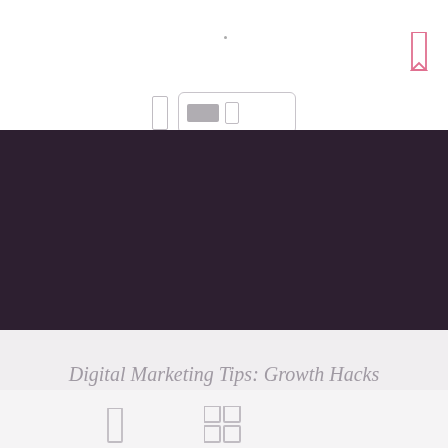[Figure (screenshot): Website page header with navigation icons, dark purple hero band, article title area, and bottom navigation strip showing partial UI elements]
Digital Marketing Tips: Growth Hacks for Startups